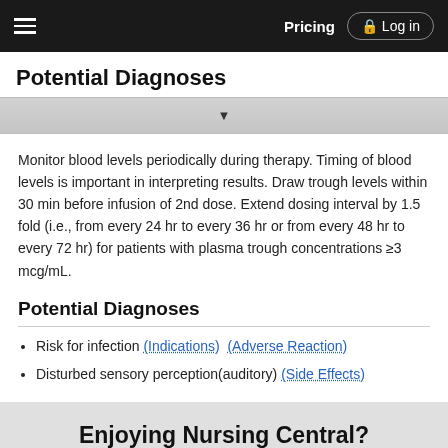Pricing  Log in
Potential Diagnoses
Monitor blood levels periodically during therapy. Timing of blood levels is important in interpreting results. Draw trough levels within 30 min before infusion of 2nd dose. Extend dosing interval by 1.5 fold (i.e., from every 24 hr to every 36 hr or from every 48 hr to every 72 hr) for patients with plasma trough concentrations ≥3 mcg/mL.
Potential Diagnoses
Risk for infection (Indications)  (Adverse Reaction)
Disturbed sensory perception(auditory)  (Side Effects)
Enjoying Nursing Central?
Purchase a subscription
I'm already a subscriber